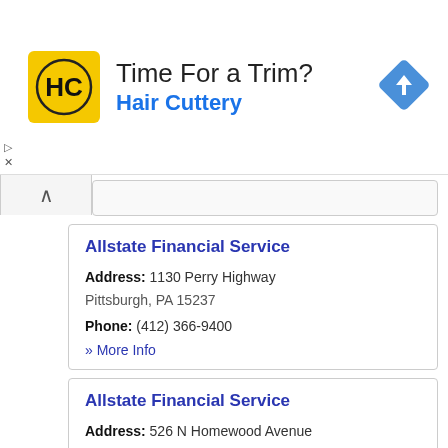[Figure (infographic): Hair Cuttery advertisement banner with yellow HC logo, text 'Time For a Trim? Hair Cuttery', and a blue navigation/direction diamond icon on the right.]
Allstate Financial Service
Address: 1130 Perry Highway Pittsburgh, PA 15237
Phone: (412) 366-9400
» More Info
Allstate Financial Service
Address: 526 N Homewood Avenue Pittsburgh, PA 15208
Phone: (412) 200-1219
» More Info